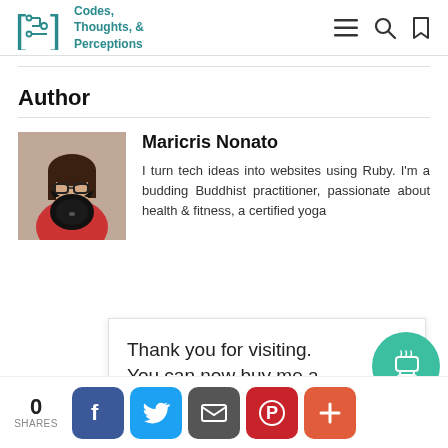Codes, Thoughts, & Perceptions
Author
Maricris Nonato
I turn tech ideas into websites using Ruby. I'm a budding Buddhist practitioner, passionate about health & fitness, a certified yoga
[Figure (photo): Author photo: woman with glasses holding a black cat]
Thank you for visiting. You can now buy me a coffee!
0 SHARES